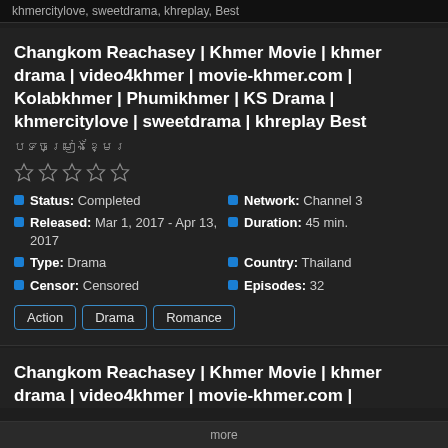khmercitylove, sweetdrama, khreplay, Best
Changkom Reachasey | Khmer Movie | khmer drama | video4khmer | movie-khmer.com | Kolabkhmer | Phumikhmer | KS Drama | khmercitylove | sweetdrama | khreplay Best
បទចម្រៀងខ្មែរ
Status: Completed
Released: Mar 1, 2017 - Apr 13, 2017
Type: Drama
Censor: Censored
Network: Channel 3
Duration: 45 min.
Country: Thailand
Episodes: 32
Action  Drama  Romance
Changkom Reachasey | Khmer Movie | khmer drama | video4khmer | movie-khmer.com |
more